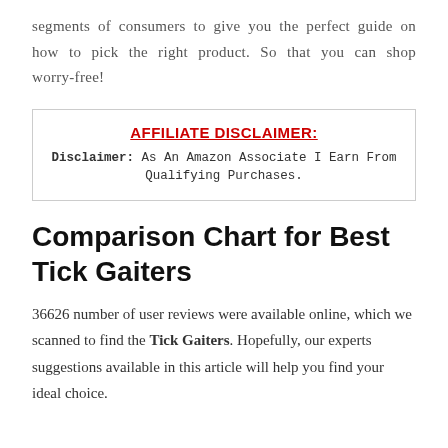segments of consumers to give you the perfect guide on how to pick the right product. So that you can shop worry-free!
AFFILIATE DISCLAIMER: Disclaimer: As An Amazon Associate I Earn From Qualifying Purchases.
Comparison Chart for Best Tick Gaiters
36626 number of user reviews were available online, which we scanned to find the Tick Gaiters. Hopefully, our experts suggestions available in this article will help you find your ideal choice.